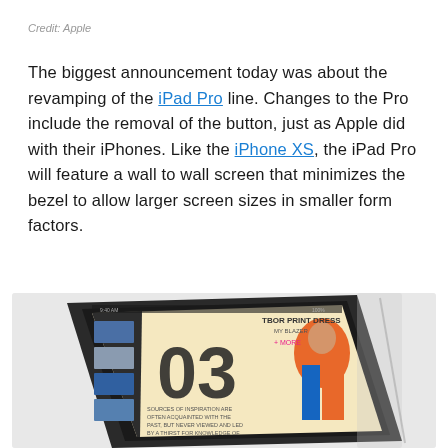Credit: Apple
The biggest announcement today was about the revamping of the iPad Pro line. Changes to the Pro include the removal of the button, just as Apple did with their iPhones. Like the iPhone XS, the iPad Pro will feature a wall to wall screen that minimizes the bezel to allow larger screen sizes in smaller form factors.
[Figure (photo): Photo of an iPad Pro displaying a fashion magazine app (showing page 03 with a model in colorful outfit), the iPad shown at an angle against a white background.]